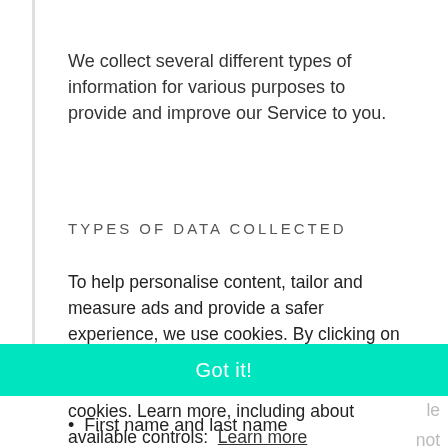We collect several different types of information for various purposes to provide and improve our Service to you.
TYPES OF DATA COLLECTED
To help personalise content, tailor and measure ads and provide a safer experience, we use cookies. By clicking on or navigating the site, you agree to allow us to collect information on Litelink.at through cookies. Learn more, including about available controls:  Learn more
Got it!
First name and last name